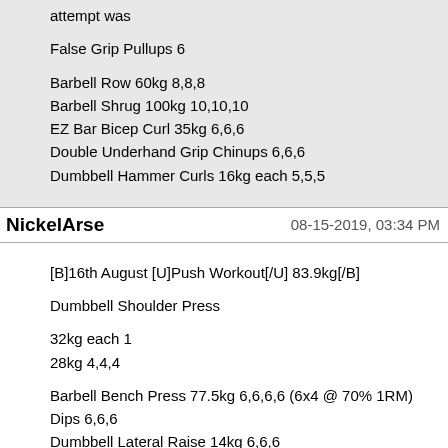attempt was
False Grip Pullups 6
Barbell Row 60kg 8,8,8
Barbell Shrug 100kg 10,10,10
EZ Bar Bicep Curl 35kg 6,6,6
Double Underhand Grip Chinups 6,6,6
Dumbbell Hammer Curls 16kg each 5,5,5
NickelArse
08-15-2019, 03:34 PM
[B]16th August [U]Push Workout[/U] 83.9kg[/B]
Dumbbell Shoulder Press
32kg each 1
28kg 4,4,4
Barbell Bench Press 77.5kg 6,6,6,6 (6x4 @ 70% 1RM)
Dips 6,6,6
Dumbbell Lateral Raise 14kg 6,6,6
Seated Barbell Press 40kg 6,6,6
Plate Front Raise 15kg 10,10,10
Cable Lateral Raise 5kg each 8,6,6